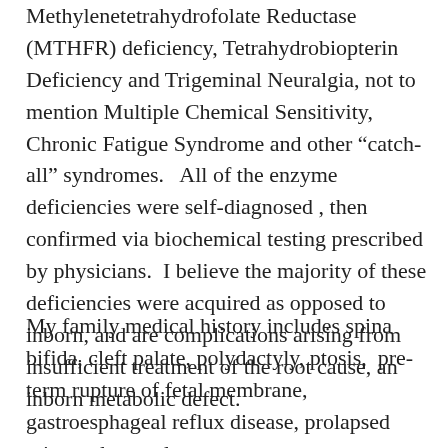Methylenetetrahydrofolate Reductase (MTHFR) deficiency, Tetrahydrobiopterin Deficiency and Trigeminal Neuralgia, not to mention Multiple Chemical Sensitivity, Chronic Fatigue Syndrome and other “catch-all” syndromes.   All of the enzyme deficiencies were self-diagnosed , then confirmed via biochemical testing prescribed by physicians.  I believe the majority of these deficiencies were acquired as opposed to inborn, and are complications arising from insufficient treatment of the root cause, an inborn metabolic defect.
My family medical history includes spina bifida, cleft palate, polydactyly, ptosis,  pre-term rupture of fetal membrane, gastroesphageal reflux disease, prolapsed mitro valve,  colon cancer, prostate cancer, autism spectrum disorder, seizures, early onset dementia,